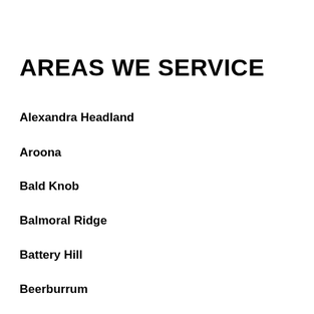AREAS WE SERVICE
Alexandra Headland
Aroona
Bald Knob
Balmoral Ridge
Battery Hill
Beerburrum